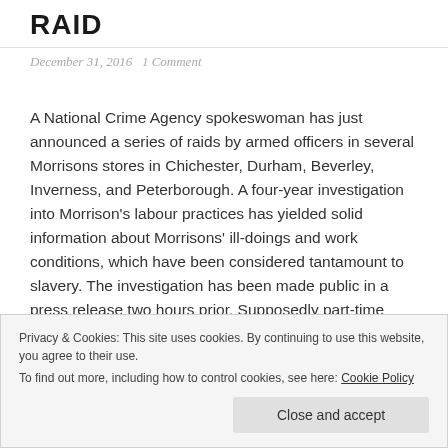RAID
December 31, 2016   1 Comment
A National Crime Agency spokeswoman has just announced a series of raids by armed officers in several Morrisons stores in Chichester, Durham, Beverley, Inverness, and Peterborough. A four-year investigation into Morrison’s labour practices has yielded solid information about Morrisons’ ill-doings and work conditions, which have been considered tantamount to slavery. The investigation has been made public in a press release two hours prior. Supposedly part-time workers are conscripted into forced overtime totalling up to 136 hours a week.
Privacy & Cookies: This site uses cookies. By continuing to use this website, you agree to their use. To find out more, including how to control cookies, see here: Cookie Policy